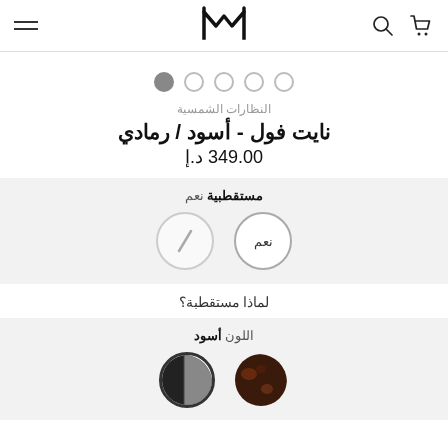Navigation header with cart, search, logo (M), and hamburger menu
[Figure (other): Carousel pagination dots — 4 empty circles and 1 filled (active) circle]
النظارات الشمسية
نايت فول - أسود / رمادي
349.00 د.إ
مستقطبية نعم
[Figure (other): Two circular option buttons: one labeled نعم (yes) with border, one with a diagonal slash icon]
لماذا مستقطبة؟
اللون أسود
[Figure (other): Two color swatch circles: one brown/tortoise, one black/grey (selected with border)]